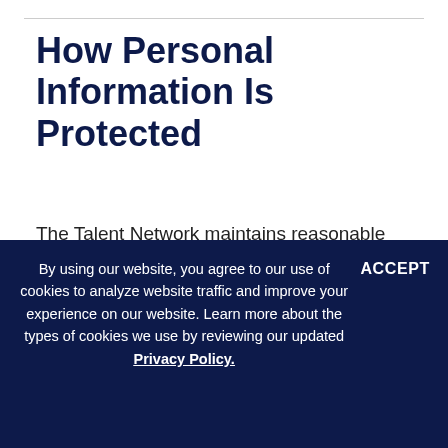How Personal Information Is Protected
The Talent Network maintains reasonable security procedures and practices, including administrative, technical and physical safeguards designed to assist in protecting the Personal Information collected against accidental, unlawful or unauthorized destruction, loss, alteration
By using our website, you agree to our use of cookies to analyze website traffic and improve your experience on our website. Learn more about the types of cookies we use by reviewing our updated Privacy Policy.
ACCEPT